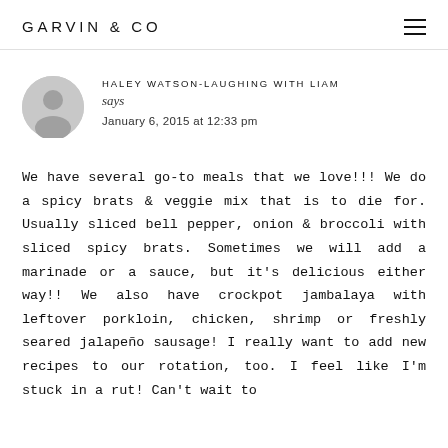GARVIN & CO
HALEY WATSON-LAUGHING WITH LIAM says
January 6, 2015 at 12:33 pm
We have several go-to meals that we love!!! We do a spicy brats & veggie mix that is to die for. Usually sliced bell pepper, onion & broccoli with sliced spicy brats. Sometimes we will add a marinade or a sauce, but it's delicious either way!! We also have crockpot jambalaya with leftover porkloin, chicken, shrimp or freshly seared jalapeño sausage! I really want to add new recipes to our rotation, too. I feel like I'm stuck in a rut! Can't wait to